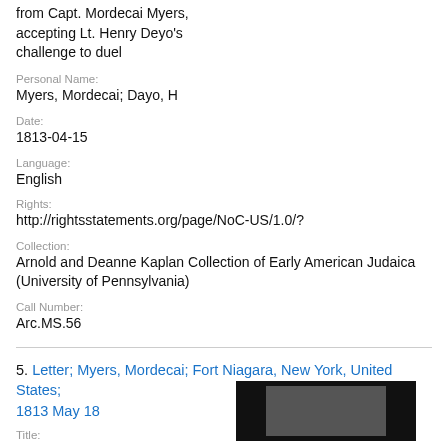from Capt. Mordecai Myers, accepting Lt. Henry Deyo's challenge to duel
Personal Name:
Myers, Mordecai; Dayo, H
Date:
1813-04-15
Language:
English
Rights:
http://rightsstatements.org/page/NoC-US/1.0/?
Collection:
Arnold and Deanne Kaplan Collection of Early American Judaica (University of Pennsylvania)
Call Number:
Arc.MS.56
5. Letter; Myers, Mordecai; Fort Niagara, New York, United States; 1813 May 18
Title: